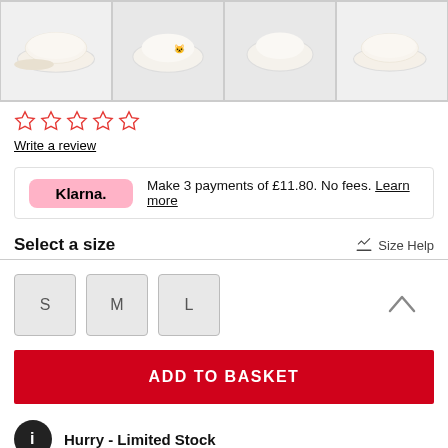[Figure (photo): Four product photos of cream/white fluffy slippers shown from different angles]
[Figure (infographic): Five empty red star rating icons]
Write a review
Klarna. Make 3 payments of £11.80. No fees. Learn more
Select a size
Size Help
S M L
ADD TO BASKET
Hurry - Limited Stock